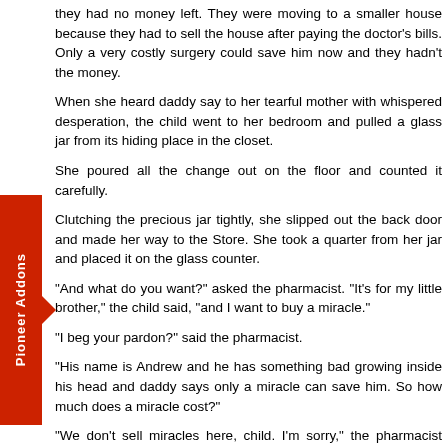they had no money left. They were moving to a smaller house because they had to sell the house after paying the doctor's bills. Only a very costly surgery could save him now and they hadn't the money.
When she heard daddy say to her tearful mother with whispered desperation, the child went to her bedroom and pulled a glass jar from its hiding place in the closet.
She poured all the change out on the floor and counted it carefully.
Clutching the precious jar tightly, she slipped out the back door and made her way to the Store. She took a quarter from her jar and placed it on the glass counter.
"And what do you want?" asked the pharmacist. "It's for my little brother," the child said, "and I want to buy a miracle."
"I beg your pardon?" said the pharmacist.
"His name is Andrew and he has something bad growing inside his head and daddy says only a miracle can save him. So how much does a miracle cost?"
"We don't sell miracles here, child. I'm sorry," the pharmacist said, smiling sadly.
"Listen, I have the money to pay for it. If it isn't enough, I can try and get the rest."
In the shop was a well-dressed customer. He stooped down and asked the child, "What kind do you brother need?"
"I don't know," she replied with her eyes welling up. "He's really sick and my daddy can't pay for it, so I have brought my savings".
"How much do you have?" asked the man. "One dollar and eleven cents